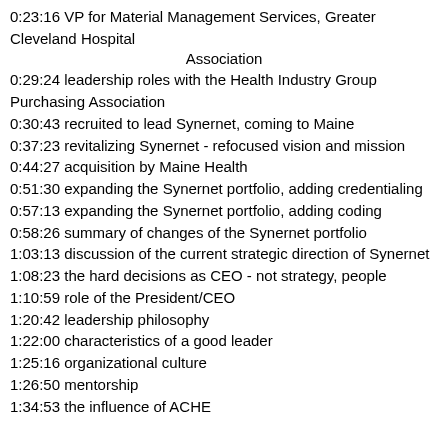0:23:16  VP for Material Management Services, Greater Cleveland Hospital Association
0:29:24  leadership roles with the Health Industry Group Purchasing Association
0:30:43  recruited to lead Synernet, coming to Maine
0:37:23  revitalizing Synernet - refocused vision and mission
0:44:27  acquisition by Maine Health
0:51:30  expanding the Synernet portfolio, adding credentialing
0:57:13  expanding the Synernet portfolio, adding coding
0:58:26  summary of changes of the Synernet portfolio
1:03:13  discussion of the current strategic direction of Synernet
1:08:23  the hard decisions as CEO - not strategy, people
1:10:59  role of the President/CEO
1:20:42  leadership philosophy
1:22:00  characteristics of a good leader
1:25:16  organizational culture
1:26:50  mentorship
1:34:53  the influence of ACHE